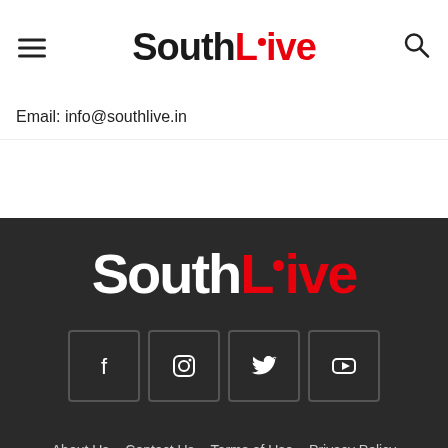SouthLive
Email: info@southlive.in
[Figure (logo): SouthLive logo in white and red on dark background footer]
[Figure (infographic): Social media icons row: Facebook, Instagram, Twitter, YouTube in square boxes]
About Us  Contact Us  Terms of Use  Privacy Policy  © 2022 SouthLive Networks Pvt. Ltd.